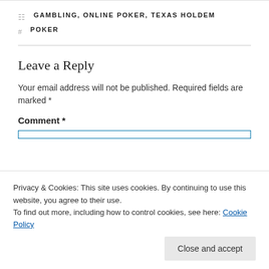GAMBLING, ONLINE POKER, TEXAS HOLDEM
POKER
Leave a Reply
Your email address will not be published. Required fields are marked *
Comment *
Privacy & Cookies: This site uses cookies. By continuing to use this website, you agree to their use.
To find out more, including how to control cookies, see here: Cookie Policy
Close and accept